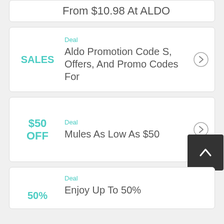From $10.98 At ALDO
Deal
Aldo Promotion Code S, Offers, And Promo Codes For
SALES
Deal
Mules As Low As $50
$50 OFF
Deal
Enjoy Up To 50%
50%